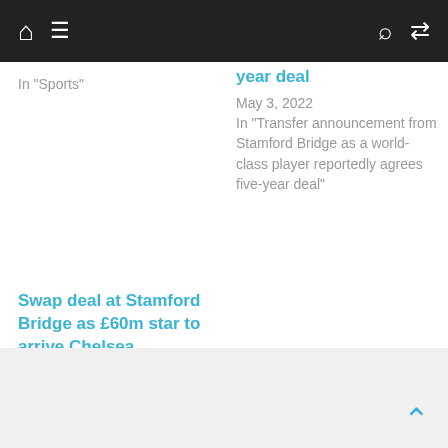Navigation bar with home, menu, search, and shuffle icons
In "Sports"
year deal
May 3, 2022
In "Transfer announcement from Stamford Bridge as a world-class player reportedly agrees five-year deal"
Swap deal at Stamford Bridge as £60m star to arrive Chelsea
June 13, 2022
In "Sports"